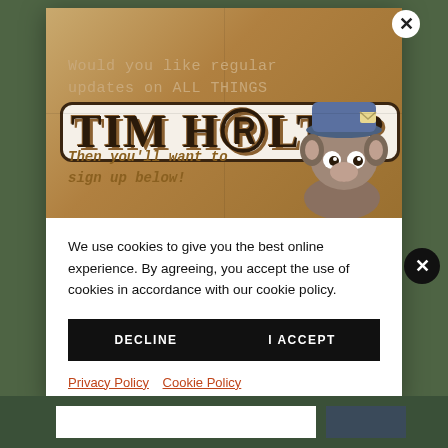[Figure (illustration): Newsletter signup popup image with tan/kraft paper background showing text 'Would you like regular updates on ALL THINGS TIM HOLTZ?' with large stylized logo text and a cartoon dog/raccoon character wearing a hat in the bottom right]
We use cookies to give you the best online experience. By agreeing, you accept the use of cookies in accordance with our cookie policy.
DECLINE
I ACCEPT
Privacy Policy   Cookie Policy